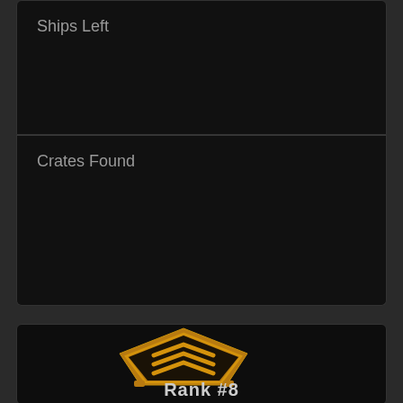Ships Left
Crates Found
[Figure (illustration): Gold military rank badge with pentagon shape and three upward chevrons inside]
Rank #8